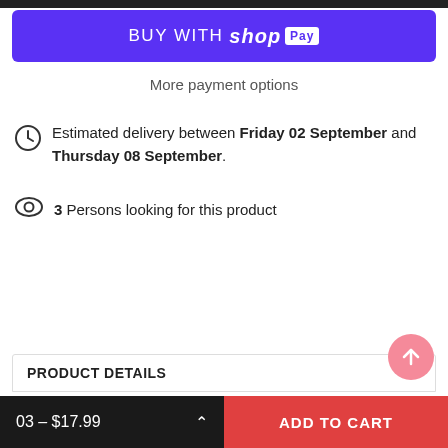[Figure (screenshot): Buy with Shop Pay button — purple rounded rectangle with white text]
More payment options
Estimated delivery between Friday 02 September and Thursday 08 September.
3 Persons looking for this product
PRODUCT DETAILS
03 – $17.99   ADD TO CART